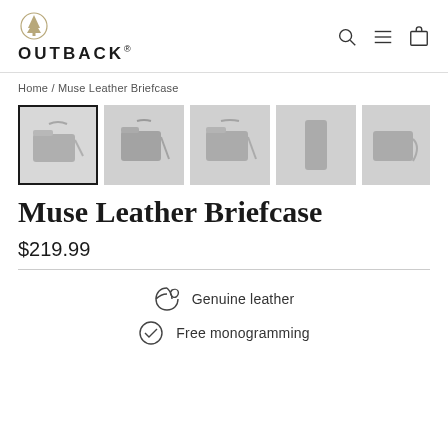OUTBACK
Home / Muse Leather Briefcase
[Figure (photo): Five thumbnail images of the Muse Leather Briefcase from different angles; first thumbnail is selected with a black border.]
Muse Leather Briefcase
$219.99
Genuine leather
Free monogramming